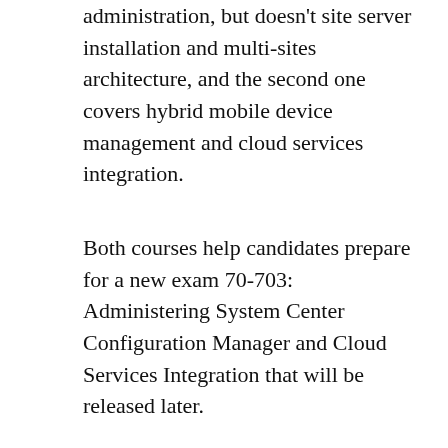administration, but doesn't site server installation and multi-sites architecture, and the second one covers hybrid mobile device management and cloud services integration.
Both courses help candidates prepare for a new exam 70-703: Administering System Center Configuration Manager and Cloud Services Integration that will be released later.
04.07.2017 / exams, SCCM Current Branch, trainings / 1 Comment
videos from Cireson Configuration Manager Day 2017